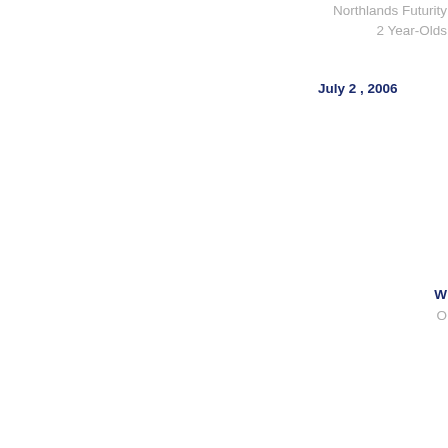Northlands Futurity 2 Year-Olds
July 2 , 2006
W
O
R
Canterbury Park De 3 Year-Olds
July 8 , 2006
W
O